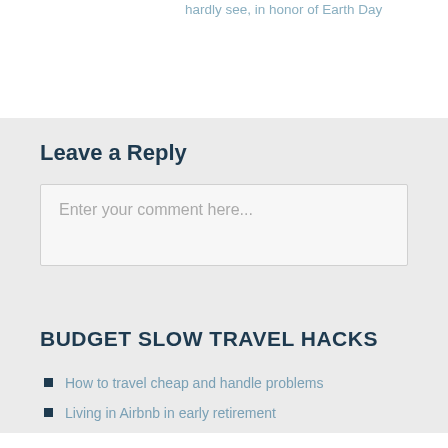hardly see, in honor of Earth Day
Leave a Reply
Enter your comment here...
BUDGET SLOW TRAVEL HACKS
How to travel cheap and handle problems
Living in Airbnb in early retirement